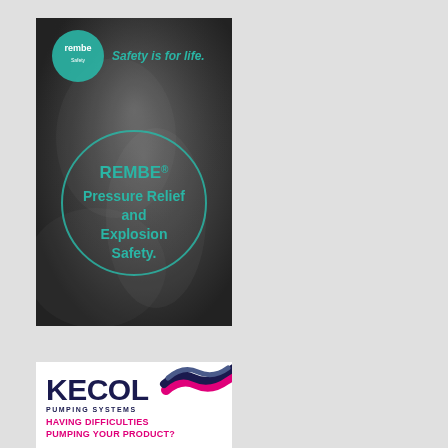[Figure (illustration): REMBE advertisement: dark smoky background with teal circular logo (Rembe), tagline 'Safety is for life.' and a teal circle containing bold teal text 'REMBE® Pressure Relief and Explosion Safety.']
[Figure (illustration): Kecol Pumping Systems advertisement: white background with dark navy and pink wave logo, bold text 'KECOL PUMPING SYSTEMS', tagline 'HAVING DIFFICULTIES PUMPING YOUR PRODUCT?' in pink, and a circular product image at bottom.]